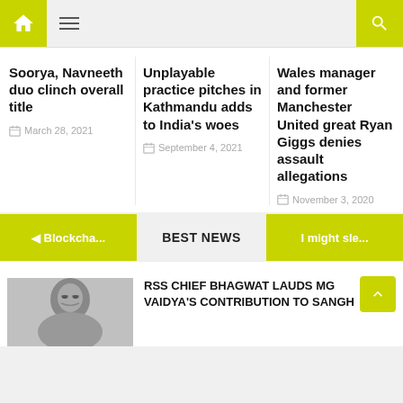Navigation bar with home icon, hamburger menu, and search icon
Soorya, Navneeth duo clinch overall title
March 28, 2021
Unplayable practice pitches in Kathmandu adds to India's woes
September 4, 2021
Wales manager and former Manchester United great Ryan Giggs denies assault allegations
November 3, 2020
◄ Blockcha...
BEST NEWS
I might sle...
RSS CHIEF BHAGWAT LAUDS MG VAIDYA'S CONTRIBUTION TO SANGH